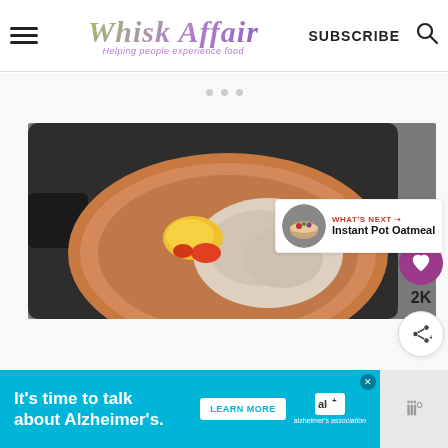Whisk Affair — Helping people experience food | SUBSCRIBE
[Figure (photo): Overhead view of a copper pan on a dark cutting board with ground meat, corn, and red pepper pieces cooking inside]
[Figure (infographic): What's Next box showing Instant Pot Oatmeal with food thumbnail]
[Figure (infographic): Advertisement banner: It's time to talk about Alzheimer's. Learn More button. Alzheimer's Association logo.]